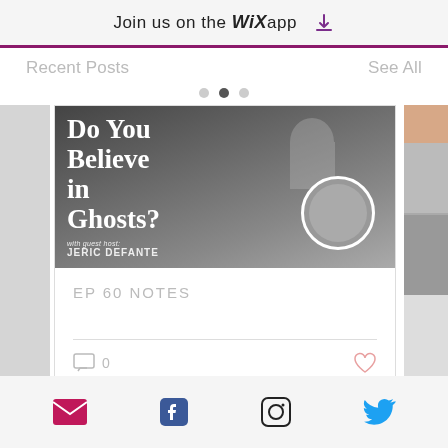Join us on the WiX app
Recent Posts
See All
[Figure (screenshot): Blog post card showing 'Do You Believe in Ghosts?' podcast episode with guest host JERIC DEFANTE, with EP 60 NOTES title below, comment count 0, and heart icon]
[Figure (infographic): Social media footer icons: email (envelope), Facebook, Instagram, Twitter]